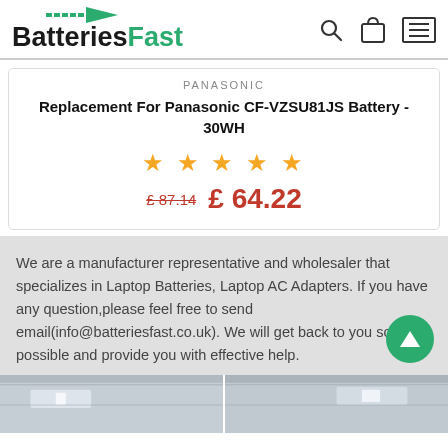[Figure (logo): BatteriesFast logo with green arrow and text, search icon, bag icon, hamburger menu icon]
PANASONIC
Replacement For Panasonic CF-VZSU81JS Battery - 30WH
[Figure (other): Five gold star rating]
£87.14  £ 64.22
We are a manufacturer representative and wholesaler that specializes in Laptop Batteries, Laptop AC Adapters. If you have any question,please feel free to send email(info@batteriesfast.co.uk). We will get back to you as soon as possible and provide you with effective help.
[Figure (photo): Warehouse/office interior ceiling photos]